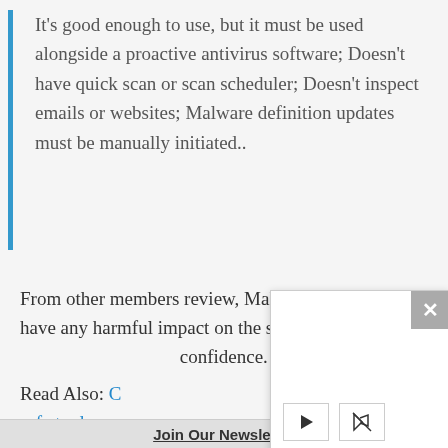It's good enough to use, but it must be used alongside a proactive antivirus software; Doesn't have quick scan or scan scheduler; Doesn't inspect emails or websites; Malware definition updates must be manually initiated..
From other members review, Malwarebytes does not have any harmful impact on the system's performance... confidence.
Read Also: C... safe to down...
[Figure (screenshot): A popup/modal overlay with a gray close (X) button in the top-right corner, blank white content area, and two control buttons (play triangle and cursor/mute icon) at the bottom.]
Join Our Newsletter